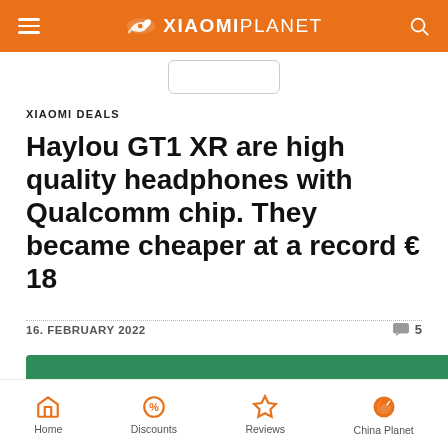XIAOMI PLANET
XIAOMI DEALS
Haylou GT1 XR are high quality headphones with Qualcomm chip. They became cheaper at a record € 18
16. FEBRUARY 2022
5
[Figure (photo): Photo of Haylou GT1 XR earbuds on green background — black wireless earbuds with charging case visible]
Home  Discounts  Reviews  China Planet